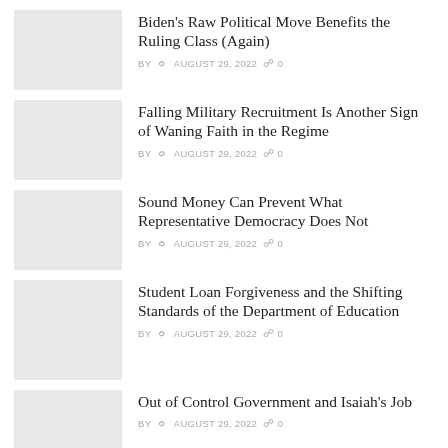Biden's Raw Political Move Benefits the Ruling Class (Again)
BY  AUGUST 29, 2022  0
Falling Military Recruitment Is Another Sign of Waning Faith in the Regime
BY  AUGUST 29, 2022  0
Sound Money Can Prevent What Representative Democracy Does Not
BY  AUGUST 29, 2022  0
Student Loan Forgiveness and the Shifting Standards of the Department of Education
BY  AUGUST 29, 2022  0
Out of Control Government and Isaiah's Job
BY  AUGUST 29, 2022  0